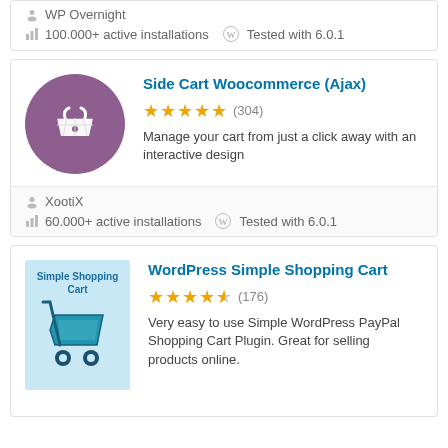WP Overnight
100.000+ active installations   Tested with 6.0.1
Side Cart Woocommerce (Ajax)
[Figure (other): Purple circle icon with shopping basket]
★★★★★ (304)
Manage your cart from just a click away with an interactive design
XootiX
60.000+ active installations   Tested with 6.0.1
WordPress Simple Shopping Cart
[Figure (illustration): Light blue Simple Shopping Cart plugin logo with shopping cart graphic]
★★★★½ (176)
Very easy to use Simple WordPress PayPal Shopping Cart Plugin. Great for selling products online.